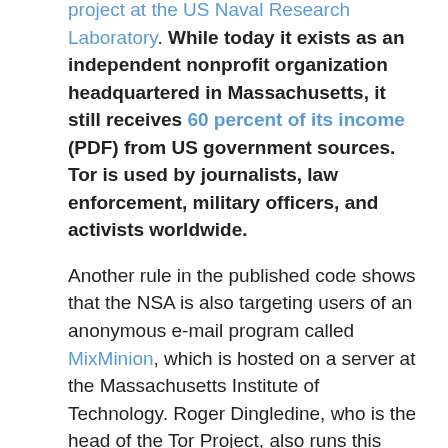project at the US Naval Research Laboratory. While today it exists as an independent nonprofit organization headquartered in Massachusetts, it still receives 60 percent of its income (PDF) from US government sources. Tor is used by journalists, law enforcement, military officers, and activists worldwide.
Another rule in the published code shows that the NSA is also targeting users of an anonymous e-mail program called MixMinion, which is hosted on a server at the Massachusetts Institute of Technology. Roger Dingledine, who is the head of the Tor Project, also runs this MixMinion server.
Vanee Vines, the spokeswoman for the NSA, responded to Ars' request for comment with the same statement that she provided to ARD:
In carrying out its mission, NSA collects only what it is authorized by law to collect for valid foreign intelligence purposes—regardless of the technical means used by foreign intelligence targets. The communications of people who are not foreign intelligence targets are of no use to